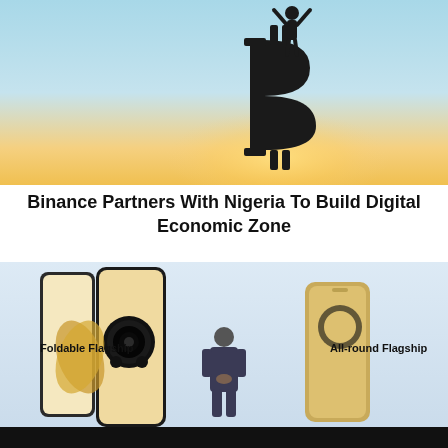[Figure (photo): Silhouette of a person lifting a giant Bitcoin symbol against a sunrise/sunset sky with light blue and yellow gradient background]
Binance Partners With Nigeria To Build Digital Economic Zone
[Figure (photo): Product launch presentation showing two smartphone models — a foldable flagship and an all-round flagship — with a presenter standing in front of the display. The phones are golden/champagne colored. Text labels read 'Foldable Flagship' on the left and 'All-round Flagship' on the right.]